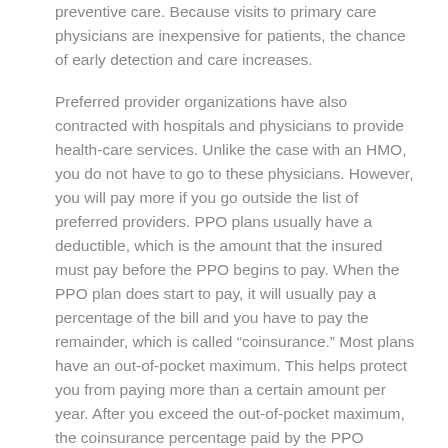preventive care. Because visits to primary care physicians are inexpensive for patients, the chance of early detection and care increases.
Preferred provider organizations have also contracted with hospitals and physicians to provide health-care services. Unlike the case with an HMO, you do not have to go to these physicians. However, you will pay more if you go outside the list of preferred providers. PPO plans usually have a deductible, which is the amount that the insured must pay before the PPO begins to pay. When the PPO plan does start to pay, it will usually pay a percentage of the bill and you have to pay the remainder, which is called “coinsurance.” Most plans have an out-of-pocket maximum. This helps protect you from paying more than a certain amount per year. After you exceed the out-of-pocket maximum, the coinsurance percentage paid by the PPO increases to 100%.
The out-of-pocket maximum, deductible, and